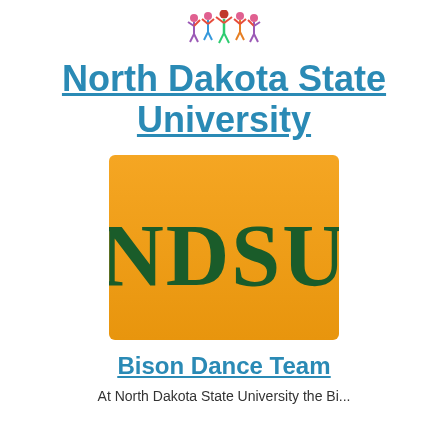[Figure (illustration): Small colorful illustration of cheerleaders/dancers at the top of the page]
North Dakota State University
[Figure (logo): NDSU logo — gold/yellow square background with dark green 'NDSU' text in large serif font]
Bison Dance Team
At North Dakota State University the Bi...